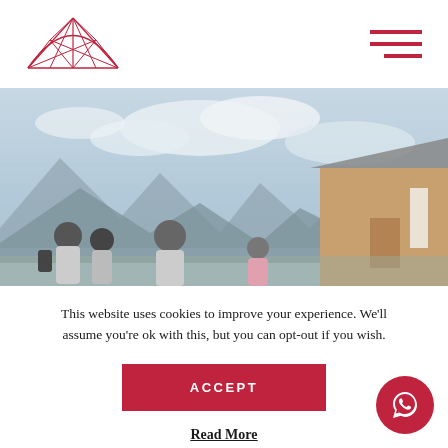Logo and navigation menu
[Figure (photo): Outdoor group of people near a wooden mountain hut with alpine mountain and cloudy sky backdrop]
This website uses cookies to improve your experience. We'll assume you're ok with this, but you can opt-out if you wish.
ACCEPT
Read More